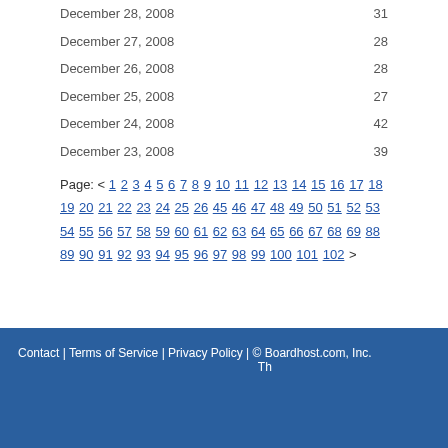December 28, 2008  31
December 27, 2008  28
December 26, 2008  28
December 25, 2008  27
December 24, 2008  42
December 23, 2008  39
Page: < 1 2 3 4 5 6 7 8 9 10 11 12 13 14 15 16 17 18 19 20 21 22 23 24 25 26 ... 45 46 47 48 49 50 51 52 53 54 55 56 57 58 59 60 61 62 63 64 65 66 67 68 69 7... 88 89 90 91 92 93 94 95 96 97 98 99 100 101 102 >
Contact | Terms of Service | Privacy Policy | © Boardhost.com, Inc.  Th...